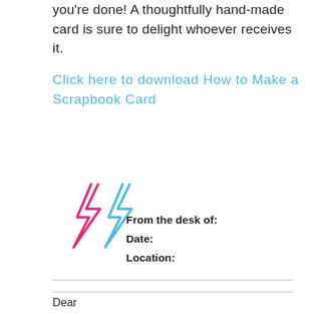you're done! A thoughtfully hand-made card is sure to delight whoever receives it.
Click here to download How to Make a Scrapbook Card
[Figure (illustration): Two lightning bolt icons side by side — one pink/magenta outline and one blue outline — decorative notepad header graphic]
From the desk of:
Date:
Location:
Dear